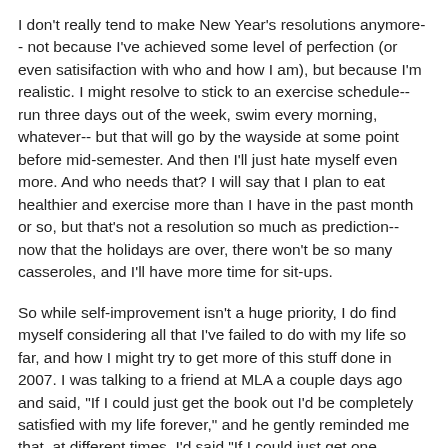I don't really tend to make New Year's resolutions anymore-- not because I've achieved some level of perfection (or even satisifaction with who and how I am), but because I'm realistic. I might resolve to stick to an exercise schedule-- run three days out of the week, swim every morning, whatever-- but that will go by the wayside at some point before mid-semester. And then I'll just hate myself even more. And who needs that? I will say that I plan to eat healthier and exercise more than I have in the past month or so, but that's not a resolution so much as prediction-- now that the holidays are over, there won't be so many casseroles, and I'll have more time for sit-ups.
So while self-improvement isn't a huge priority, I do find myself considering all that I've failed to do with my life so far, and how I might try to get more of this stuff done in 2007. I was talking to a friend at MLA a couple days ago and said, "If I could just get the book out I'd be completely satisfied with my life forever," and he gently reminded me that, at different times, I'd said "If I could just get one publication..." or "If I could just get a tenure-track job..." The more I have, the more I want. Nevertheless, the book weighs heavily on my